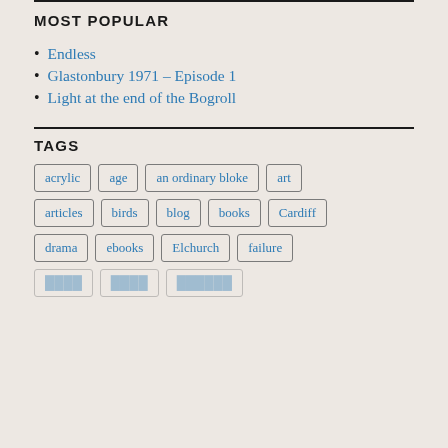MOST POPULAR
Endless
Glastonbury 1971 - Episode 1
Light at the end of the Bogroll
TAGS
acrylic
age
an ordinary bloke
art
articles
birds
blog
books
Cardiff
drama
ebooks
Elchurch
failure